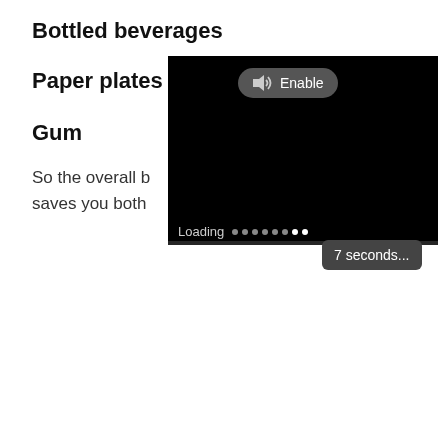Bottled beverages
Paper plates a
Gum
So the overall b
saves you both
[Figure (screenshot): A black video player overlay with an Enable audio button (speaker icon + 'Enable' text in gray rounded rectangle), a loading bar at the bottom showing 'Loading' with dots (last two dots brighter), and a '7 seconds...' gray button in the bottom right corner.]